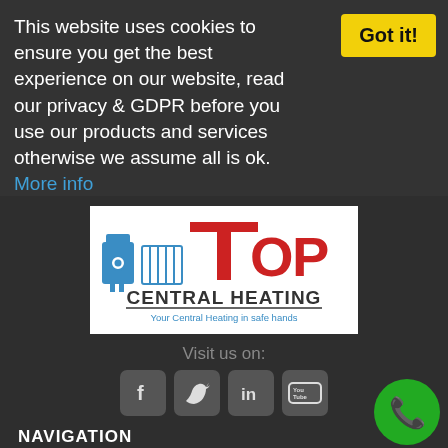This website uses cookies to ensure you get the best experience on our website, read our privacy & GDPR before you use our products and services otherwise we assume all is ok. More info
[Figure (logo): Top Central Heating logo with boiler and radiator icons, red TOP text, dark grey CENTRAL HEATING text, blue tagline 'Your Central Heating in safe hands']
Visit us on:
[Figure (infographic): Social media icons: Facebook, Twitter, LinkedIn, YouTube]
NAVIGATION
Home
[Figure (other): Green phone/call button circle]